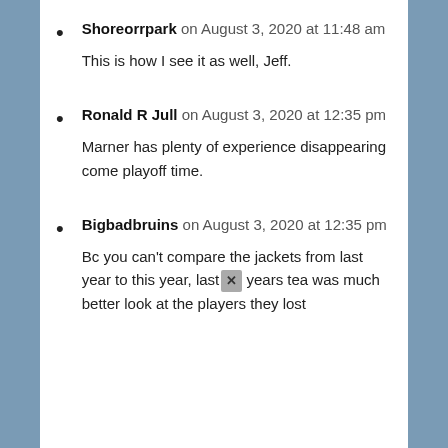Shoreorrpark on August 3, 2020 at 11:48 am
This is how I see it as well, Jeff.
Ronald R Jull on August 3, 2020 at 12:35 pm
Marner has plenty of experience disappearing come playoff time.
Bigbadbruins on August 3, 2020 at 12:35 pm
Bc you can't compare the jackets from last year to this year, last years tea was much better look at the players they lost